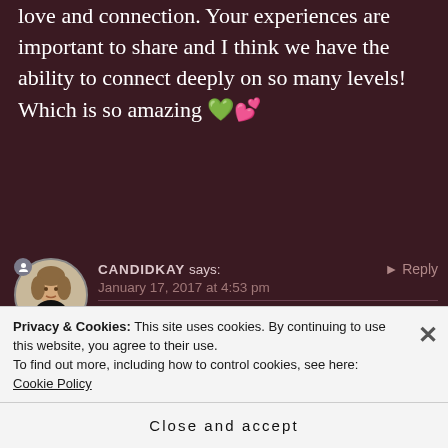love and connection. Your experiences are important to share and I think we have the ability to connect deeply on so many levels! Which is so amazing 💚💕
CANDIDKAY says: January 17, 2017 at 4:53 pm
[Figure (photo): Circular avatar photo of a woman with short blonde-brown hair wearing a black turtleneck, with a small user icon badge in the top-left corner.]
Oh, I'm glad you have those to treasure. I am sure it is us in our thick human bodies that can't perceive the
Privacy & Cookies: This site uses cookies. By continuing to use this website, you agree to their use.
To find out more, including how to control cookies, see here: Cookie Policy
Close and accept